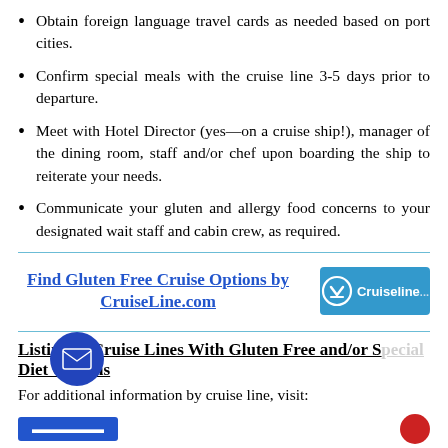Obtain foreign language travel cards as needed based on port cities.
Confirm special meals with the cruise line 3-5 days prior to departure.
Meet with Hotel Director (yes—on a cruise ship!), manager of the dining room, staff and/or chef upon boarding the ship to reiterate your needs.
Communicate your gluten and allergy food concerns to your designated wait staff and cabin crew, as required.
[Figure (logo): Find Gluten Free Cruise Options by CruiseLine.com promotional block with CruiseLine.com logo]
Listing of Cruise Lines With Gluten Free and/or Special Diet Options
For additional information by cruise line, visit: